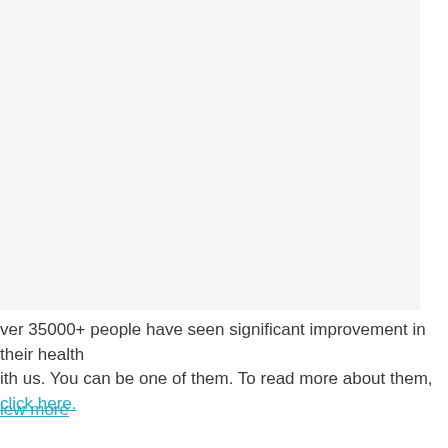[Figure (other): Large light gray rectangular area occupying the upper portion of the page]
ver 35000+ people have seen significant improvement in their health with us. You can be one of them. To read more about them, click here.
iew more